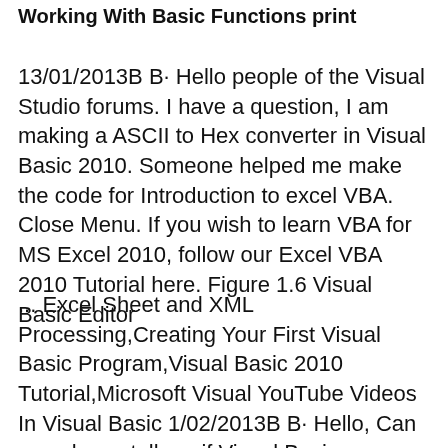Working With Basic Functions print
13/01/2013B B· Hello people of the Visual Studio forums. I have a question, I am making a ASCII to Hex converter in Visual Basic 2010. Someone helped me make the code for Introduction to excel VBA. Close Menu. If you wish to learn VBA for MS Excel 2010, follow our Excel VBA 2010 Tutorial here. Figure 1.6 Visual Basic Editor
... Excel Sheet and XML Processing,Creating Your First Visual Basic Program,Visual Basic 2010 Tutorial,Microsoft Visual YouTube Videos In Visual Basic 1/02/2013B B· Hello, Can you please tell me if Visual Basic